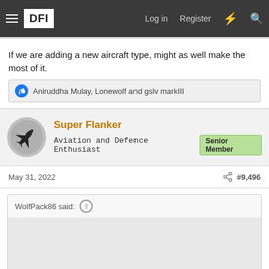DFI  Log in  Register
If we are adding a new aircraft type, might as well make the most of it.
Aniruddha Mulay, Lonewolf and gslv markIII
Super Flanker
Aviation and Defence Enthusiast  Senior Member
May 31, 2022  #9,496
WolfPack86 said: